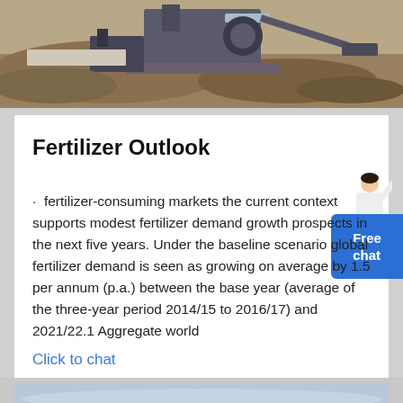[Figure (photo): Aerial or ground-level photo of industrial mining/quarrying equipment and earthen terrain, brown tones]
Fertilizer Outlook
· fertilizer-consuming markets the current context supports modest fertilizer demand growth prospects in the next five years. Under the baseline scenario global fertilizer demand is seen as growing on average by 1.5 per annum (p.a.) between the base year (average of the three-year period 2014/15 to 2016/17) and 2021/22.1 Aggregate world
Click to chat
[Figure (photo): Partial photo at bottom, light blue-gray tones, sky or water]